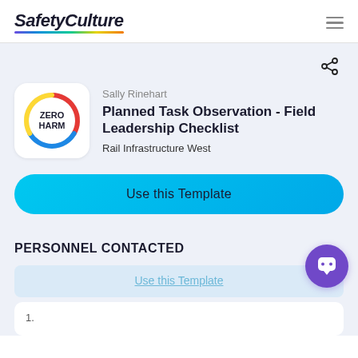SafetyCulture
Sally Rinehart
Planned Task Observation - Field Leadership Checklist
Rail Infrastructure West
Use this Template
PERSONNEL CONTACTED
Use this Template